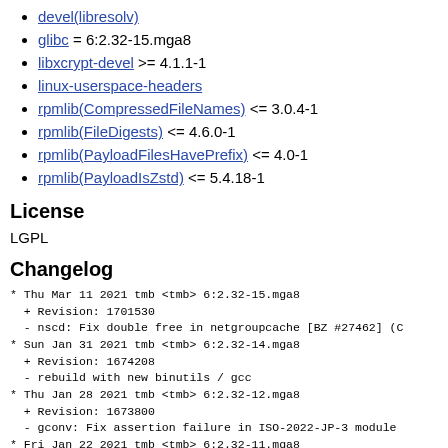devel(libresolv)
glibc = 6:2.32-15.mga8
libxcrypt-devel >= 4.1.1-1
linux-userspace-headers
rpmlib(CompressedFileNames) <= 3.0.4-1
rpmlib(FileDigests) <= 4.6.0-1
rpmlib(PayloadFilesHavePrefix) <= 4.0-1
rpmlib(PayloadIsZstd) <= 5.4.18-1
License
LGPL
Changelog
* Thu Mar 11 2021 tmb <tmb> 6:2.32-15.mga8
  + Revision: 1701530
  - nscd: Fix double free in netgroupcache [BZ #27462] (C
* Sun Jan 31 2021 tmb <tmb> 6:2.32-14.mga8
  + Revision: 1674208
  - rebuild with new binutils / gcc
* Thu Jan 28 2021 tmb <tmb> 6:2.32-12.mga8
  + Revision: 1673800
  - gconv: Fix assertion failure in ISO-2022-JP-3 module
* Fri Jan 22 2021 tmb <tmb> 6:2.32-11.mga8
  + Revision: 1672828
  - aarch64: Fix missing BTI protection from dependencies